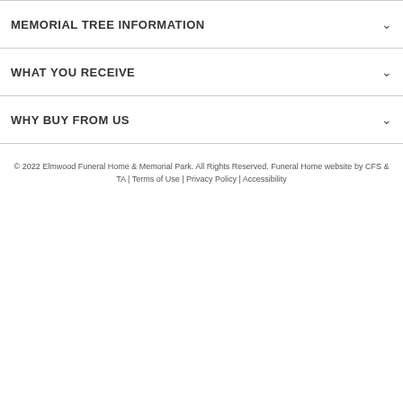MEMORIAL TREE INFORMATION
WHAT YOU RECEIVE
WHY BUY FROM US
© 2022 Elmwood Funeral Home & Memorial Park. All Rights Reserved. Funeral Home website by CFS & TA | Terms of Use | Privacy Policy | Accessibility